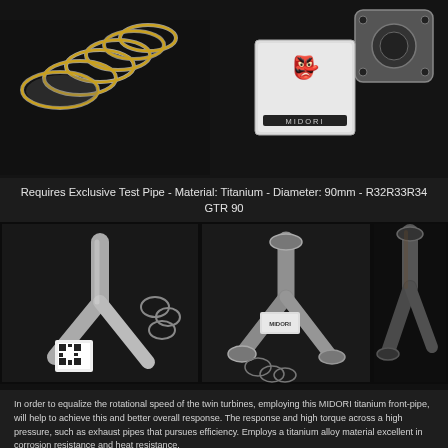[Figure (photo): Close-up photo of titanium exhaust pipes and fittings on a black background, with a Midori branded sticker/label visible. Includes a metal gasket flange in the upper right.]
Requires Exclusive Test Pipe - Material: Titanium - Diameter: 90mm - R32R33R34 GTR 90
[Figure (photo): Three side-by-side photos of titanium front-pipe assemblies: left shows a Y-pipe with gaskets and QR code label (stainless finish), center shows a similar Y-pipe in titanium with gaskets and a brand label, right shows a darker/heat-treated titanium Y-pipe.]
In order to equalize the rotational speed of the twin turbines, employing this MIDORI titanium front-pipe, will help to achieve this and better overall response. The response and high torque across a high pressure, such as exhaust pipes that pursues efficiency. Employs a titanium alloy material excellent in corrosion resistance and heat resistance.